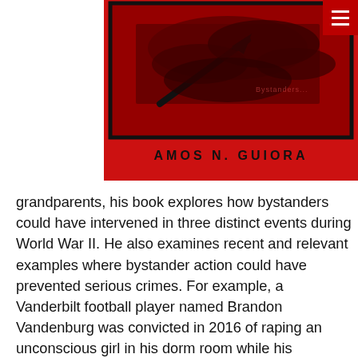[Figure (illustration): Book cover with red background showing soldiers/people silhouettes in a dark photographic image, with author name AMOS N. GUIORA displayed below in black text on red background. A hamburger menu icon appears in the top-right corner.]
grandparents, his book explores how bystanders could have intervened in three distinct events during World War II. He also examines recent and relevant examples where bystander action could have prevented serious crimes. For example, a Vanderbilt football player named Brandon Vandenburg was convicted in 2016 of raping an unconscious girl in his dorm room while his roommate Mack Prioleau pretended to be asleep. Prioleau later went across the hall without alerting